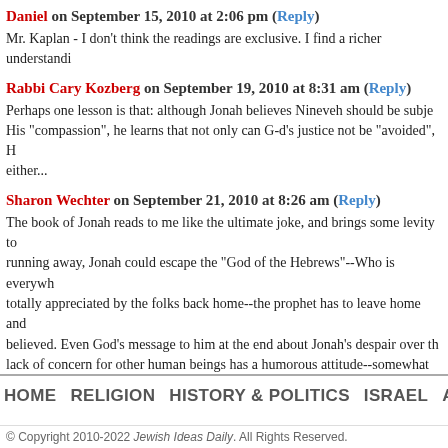Daniel on September 15, 2010 at 2:06 pm (Reply)
Mr. Kaplan - I don't think the readings are exclusive. I find a richer understandi...
Rabbi Cary Kozberg on September 19, 2010 at 8:31 am (Reply)
Perhaps one lesson is that: although Jonah believes Nineveh should be subje... His "compassion", he learns that not only can G-d's justice not be "avoided", H... either...
Sharon Wechter on September 21, 2010 at 8:26 am (Reply)
The book of Jonah reads to me like the ultimate joke, and brings some levity to... running away, Jonah could escape the "God of the Hebrews"--Who is everywh... totally appreciated by the folks back home--the prophet has to leave home and... believed. Even God's message to him at the end about Jonah's despair over t... lack of concern for other human beings has a humorous attitude--somewhat th... now Jonah..."
Comments are closed for this article.
HOME    RELIGION    HISTORY & POLITICS    ISRAEL    ARTS &
© Copyright 2010-2022 Jewish Ideas Daily. All Rights Reserved.